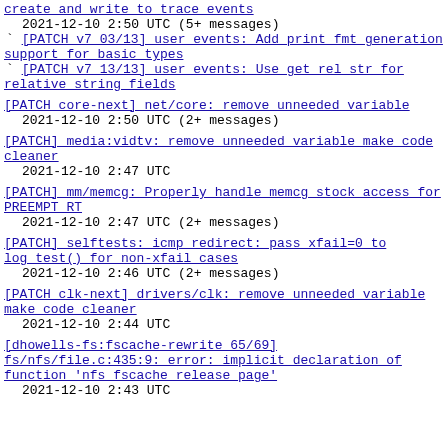create and write to trace events
  2021-12-10  2:50 UTC  (5+ messages)
` [PATCH v7 03/13] user events: Add print fmt generation support for basic types
` [PATCH v7 13/13] user events: Use __get_rel_str for relative string fields
[PATCH core-next] net/core: remove unneeded variable
  2021-12-10  2:50 UTC  (2+ messages)
[PATCH] media:vidtv: remove unneeded variable make code cleaner
  2021-12-10  2:47 UTC
[PATCH] mm/memcg: Properly handle memcg stock access for PREEMPT RT
  2021-12-10  2:47 UTC  (2+ messages)
[PATCH] selftests: icmp redirect: pass xfail=0 to log_test() for non-xfail cases
  2021-12-10  2:46 UTC  (2+ messages)
[PATCH clk-next] drivers/clk: remove unneeded variable make code cleaner
  2021-12-10  2:44 UTC
[dhowells-fs:fscache-rewrite 65/69] fs/nfs/file.c:435:9: error: implicit declaration of function 'nfs_fscache_release_page'
  2021-12-10  2:43 UTC